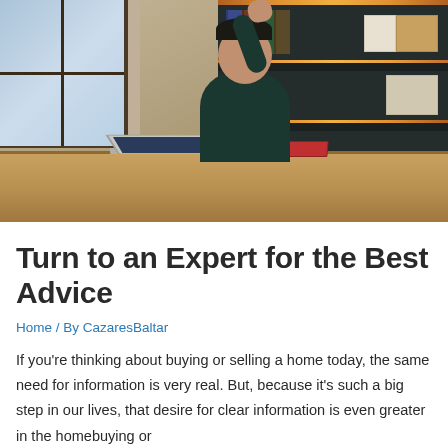[Figure (photo): A smiling man seated at a wooden desk with a laptop, waving at the screen, in a modern office with warm lit shelving behind him and a window to the left.]
Turn to an Expert for the Best Advice
Home / By CazaresBaltar
If you're thinking about buying or selling a home today, the same need for information is very real. But, because it's such a big step in our lives, that desire for clear information is even greater in the homebuying or